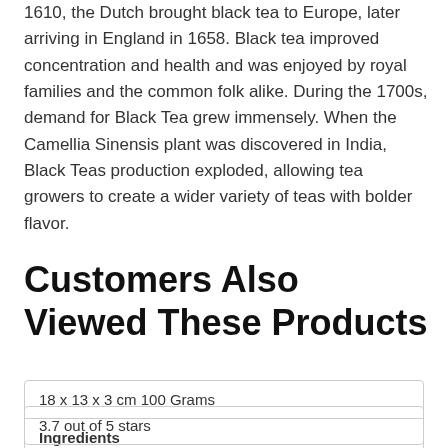1610, the Dutch brought black tea to Europe, later arriving in England in 1658. Black tea improved concentration and health and was enjoyed by royal families and the common folk alike. During the 1700s, demand for Black Tea grew immensely. When the Camellia Sinensis plant was discovered in India, Black Teas production exploded, allowing tea growers to create a wider variety of teas with bolder flavor.
Customers Also Viewed These Products
| 18 x 13 x 3 cm 100 Grams |
| Ingredients |
| 3.7 out of 5 stars |